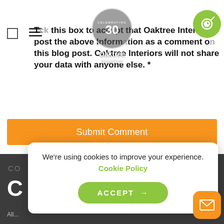[Figure (screenshot): Input field at top of form]
[Figure (logo): Oaktree Interiors 30th anniversary logo overlay with white circle border]
[Figure (other): Green phone call button (circle) in top right]
Tick this box to accept that Oaktree Interiors post the above information as a comment on this blog post. Oaktree Interiors will not share your data with anyone else. *
[Figure (other): Submit Comment orange button]
CO
C
All...
We're using cookies to improve your experience. Cookie Policy
[Figure (other): Green ACCEPT button with arrow]
[Figure (other): Orange email icon button in bottom right]